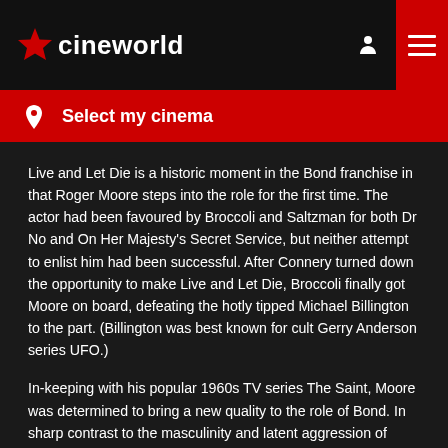cineworld
Select my cinema
Live and Let Die is a historic moment in the Bond franchise in that Roger Moore steps into the role for the first time. The actor had been favoured by Broccoli and Saltzman for both Dr No and On Her Majesty's Secret Service, but neither attempt to enlist him had been successful. After Connery turned down the opportunity to make Live and Let Die, Broccoli finally got Moore on board, defeating the hotly tipped Michael Billington to the part. (Billington was best known for cult Gerry Anderson series UFO.)
In-keeping with his popular 1960s TV series The Saint, Moore was determined to bring a new quality to the role of Bond. In sharp contrast to the masculinity and latent aggression of Connery, Moore played the part with a much lighter touch, his quips even deadlier than his fighting skills.
This Bond was capable of saying as much with a raised eyebrow as he was with a blast from a Walter PPK, and Moore's irreverent approach